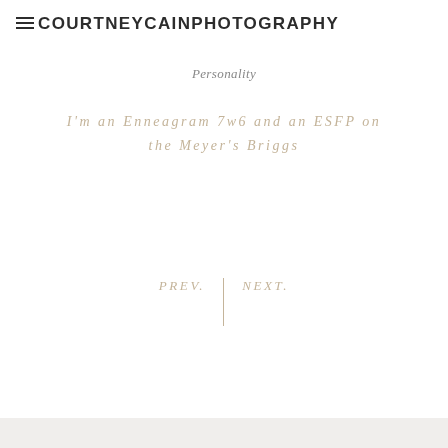≡ COURTNEYCAINPHOTOGRAPHY
Personality
I'm an Enneagram 7w6 and an ESFP on the Meyer's Briggs
PREV.  |  NEXT.